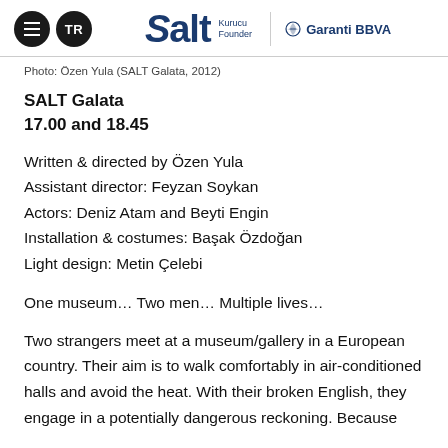TR | Salt | Kurucu Founder | Garanti BBVA
Photo: Özen Yula (SALT Galata, 2012)
SALT Galata
17.00 and 18.45
Written & directed by Özen Yula
Assistant director: Feyzan Soykan
Actors: Deniz Atam and Beyti Engin
Installation & costumes: Başak Özdoğan
Light design: Metin Çelebi
One museum… Two men… Multiple lives…
Two strangers meet at a museum/gallery in a European country. Their aim is to walk comfortably in air-conditioned halls and avoid the heat. With their broken English, they engage in a potentially dangerous reckoning. Because English is/it his and her language...